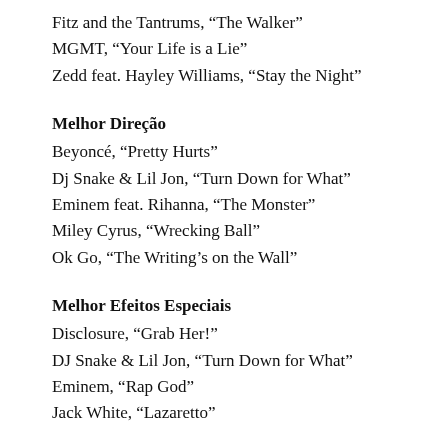Fitz and the Tantrums, “The Walker”
MGMT, “Your Life is a Lie”
Zedd feat. Hayley Williams, “Stay the Night”
Melhor Direção
Beyoncé, “Pretty Hurts”
Dj Snake & Lil Jon, “Turn Down for What”
Eminem feat. Rihanna, “The Monster”
Miley Cyrus, “Wrecking Ball”
Ok Go, “The Writing’s on the Wall”
Melhor Efeitos Especiais
Disclosure, “Grab Her!”
DJ Snake & Lil Jon, “Turn Down for What”
Eminem, “Rap God”
Jack White, “Lazaretto”